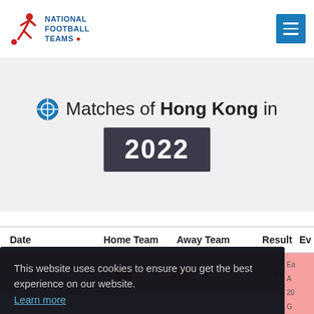National Football Teams
Matches of Hong Kong in 2022
| Date | Home Team | Away Team | Result | Ev |
| --- | --- | --- | --- | --- |
| 2022-07-07 | China (flag) | Hong Kong (flag) | :0 | Ea A 20 G S |
This website uses cookies to ensure you get the best experience on our website. Learn more
Allow cookies